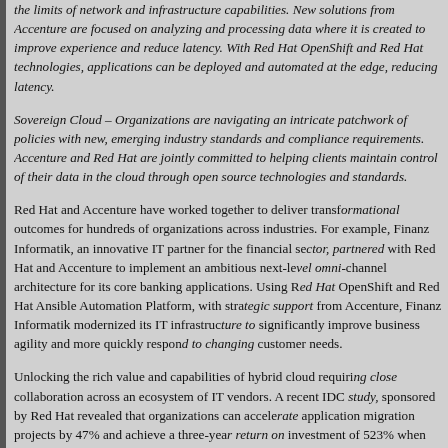the limits of network and infrastructure capabilities. New solutions from Accenture are focused on analyzing and processing data where it is created to improve experience and reduce latency. With Red Hat OpenShift and Red Hat technologies, applications can be deployed and automated at the edge, reducing latency.
Sovereign Cloud – Organizations are navigating an intricate patchwork of policies with new, emerging industry standards and compliance requirements. Accenture and Red Hat are jointly committed to helping clients maintain control of their data in the cloud through open source technologies and standards.
Red Hat and Accenture have worked together to deliver transformational outcomes for hundreds of organizations across industries. For example, Finanz Informatik, an innovative IT partner for the financial sector, partnered with Red Hat and Accenture to implement an ambitious next-level omni-channel architecture for its core banking applications. Using Red Hat OpenShift and Red Hat Ansible Automation Platform, with strategic support from Accenture, Finanz Informatik modernized its IT infrastructure to significantly improve business agility and more quickly respond to changing customer needs.
Unlocking the rich value and capabilities of hybrid cloud requires close collaboration across an ecosystem of IT vendors. A recent IDC study, sponsored by Red Hat revealed that organizations can accelerate application migration projects by 47% and achieve a three-year return on investment of 523% when implementing Red Hat OpenShift with an accredited global systems integrator such as Accenture. With...